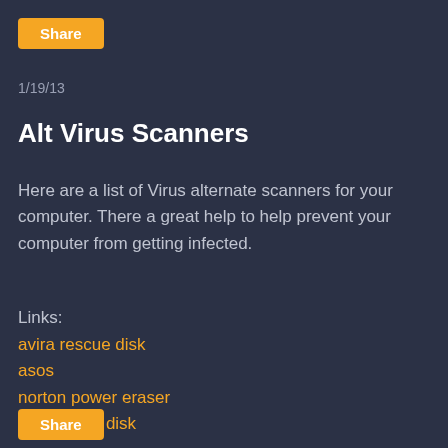Share
1/19/13
Alt Virus Scanners
Here are a list of Virus alternate scanners for your computer. There a great help to help prevent your computer from getting infected.
Links:
avira rescue disk
asos
norton power eraser
avg rescue disk
Share